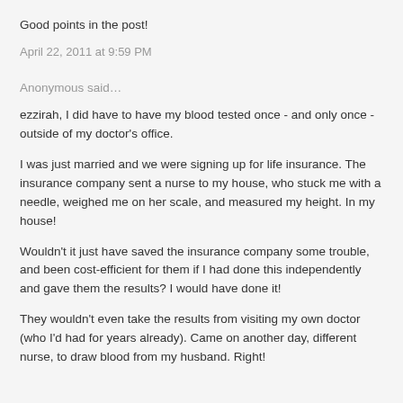Good points in the post!
April 22, 2011 at 9:59 PM
Anonymous said…
ezzirah, I did have to have my blood tested once - and only once - outside of my doctor's office.
I was just married and we were signing up for life insurance. The insurance company sent a nurse to my house, who stuck me with a needle, weighed me on her scale, and measured my height. In my house!
Wouldn't it just have saved the insurance company some trouble, and been cost-efficient for them if I had done this independently and gave them the results? I would have done it!
They wouldn't even take the results from visiting my own doctor (who I'd had for years already). Came on another day, different nurse, to draw blood from my husband. Right!